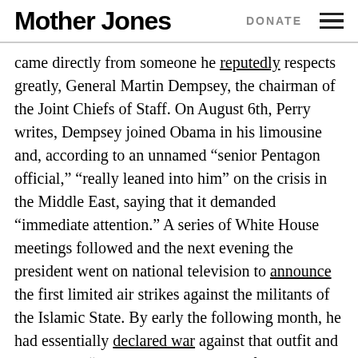Mother Jones  DONATE
came directly from someone he reputedly respects greatly, General Martin Dempsey, the chairman of the Joint Chiefs of Staff. On August 6th, Perry writes, Dempsey joined Obama in his limousine and, according to an unnamed “senior Pentagon official,” “really leaned into him” on the crisis in the Middle East, saying that it demanded “immediate attention.” A series of White House meetings followed and the next evening the president went on national television to announce the first limited air strikes against the militants of the Islamic State. By early the following month, he had essentially declared war against that outfit and announced “a systematic campaign of airstrikes,” as well as other